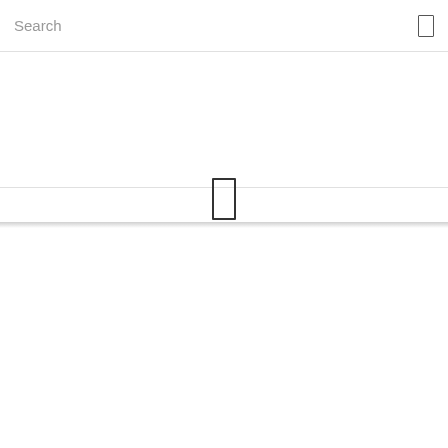Search
Interviews
Share ♥ 0
Mon, December 6, 2021